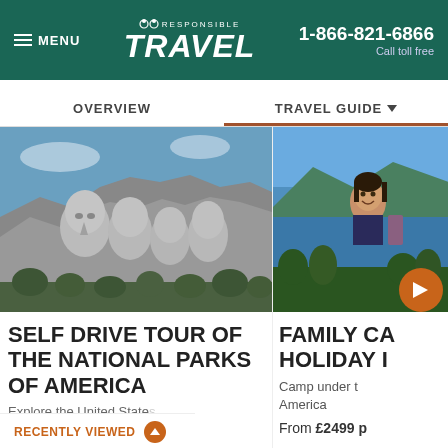MENU | Responsible Travel | 1-866-821-6866 Call toll free
OVERVIEW | TRAVEL GUIDE
[Figure (photo): Mount Rushmore national monument showing the carved faces of four US presidents in grey stone against a blue sky]
SELF DRIVE TOUR OF THE NATIONAL PARKS OF AMERICA
Explore the United States...
[Figure (photo): Young girl smiling at scenic overlook with blue lake and mountains in background]
FAMILY CA... HOLIDAY I...
Camp under the stars in America
From £2499 p...
RECENTLY VIEWED